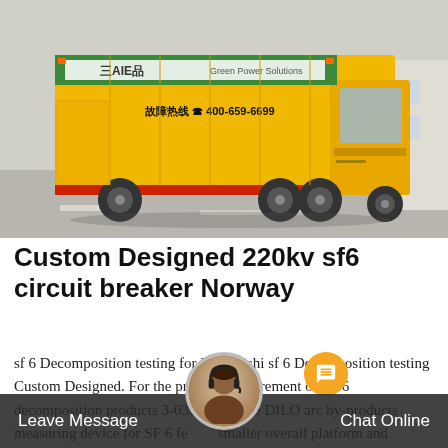[Figure (photo): A yellow commercial truck with Chinese text and phone number 400-659-6699 on the side, parked outdoors. The truck has a green and white banner/logo on top and red horizontal stripe detail along the body.]
Custom Designed 220kv sf6 circuit breaker Norway
sf 6 Decomposition testing for Mitsubishi sf 6 Decomposition testing Custom Designed. For the precise measurement of SF 6 decomposition products 3-032-R103 The DILO arc by-products measuring device for SF 6 fe smaller overall platform and robust retaining chargeable
Leave Message   Chat Online